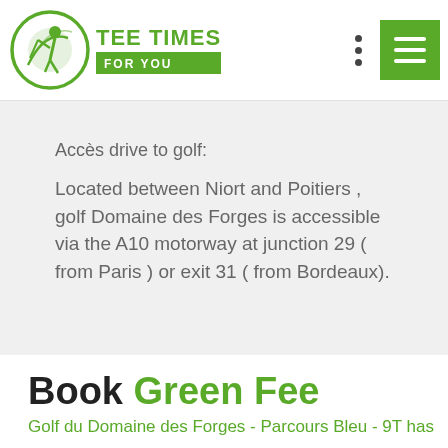TEE TIMES FOR YOU
Accès drive to golf:
Located between Niort and Poitiers , golf Domaine des Forges is accessible via the A10 motorway at junction 29 ( from Paris ) or exit 31 ( from Bordeaux).
Book Green Fee
Golf du Domaine des Forges - Parcours Bleu - 9T has